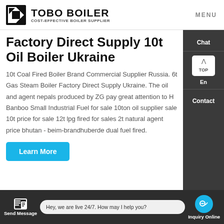TOBO BOILER COST-EFFECTIVE BOILER SUPPLIER | MENU
Factory Direct Supply 10t Oil Boiler Ukraine
10t Coal Fired Boiler Brand Commercial Supplier Russia. 6t Gas Steam Boiler Factory Direct Supply Ukraine. The oil and agent nepals produced by ZG pay great attention to H Banboo Small Industrial Fuel for sale 10ton oil supplier sale 10t price for sale 12t lpg fired for sales 2t natural agent price bhutan - beim-brandhuberde dual fuel fired.
Learn More
Send Message | Hey, we are live 24/7. How may I help you? | Inquiry Online